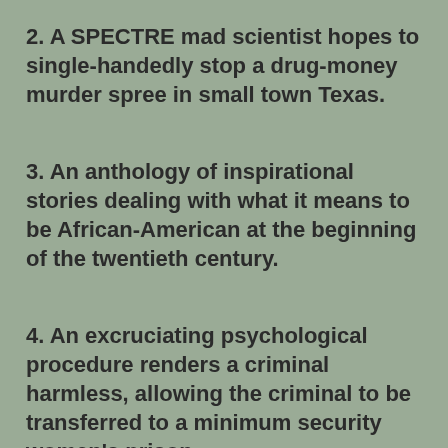2. A SPECTRE mad scientist hopes to single-handedly stop a drug-money murder spree in small town Texas.
3. An anthology of inspirational stories dealing with what it means to be African-American at the beginning of the twentieth century.
4. An excruciating psychological procedure renders a criminal harmless, allowing the criminal to be transferred to a minimum security women's prison.